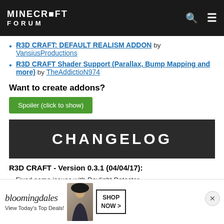MINECRAFT FORUM
R3D CRAFT: DEFAULT REALISM ADDON by VansiusProductions
R3D CRAFT Shader Support (Parallax, Bump Mapping and more) by TheAddictioN974
Want to create addons?
Spoiler (click to show)
[Figure (screenshot): CHANGELOG banner — white bold text on dark background]
R3D CRAFT - Version 0.3.1 (04/04/17):
Fixed some issues with Daylight Detector
Added item: Flower Dandelion
Added item: Flower Houstonia
Added item: Flower Peony
Added item: ...
Changed ...
[Figure (screenshot): Bloomingdales advertisement banner — View Today's Top Deals! with Shop Now button]